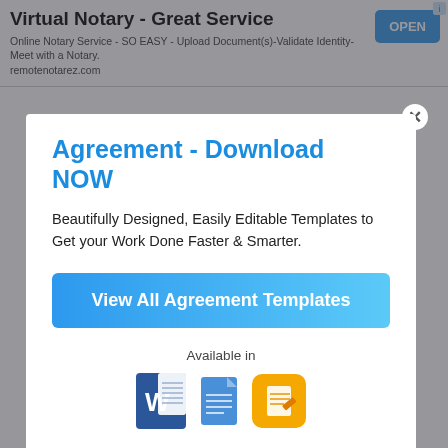[Figure (screenshot): Ad banner: Virtual Notary - Great Service. Online Notary Service - SO EASY - Upload Document(s)-Validate Identity-Meet with a Notary. remotenotarez.com. OPEN button.]
Agreement - Download NOW
Beautifully Designed, Easily Editable Templates to Get your Work Done Faster & Smarter.
View All Agreement Templates
Available in
[Figure (logo): Microsoft Word, Google Docs, and Apple Pages application icons]